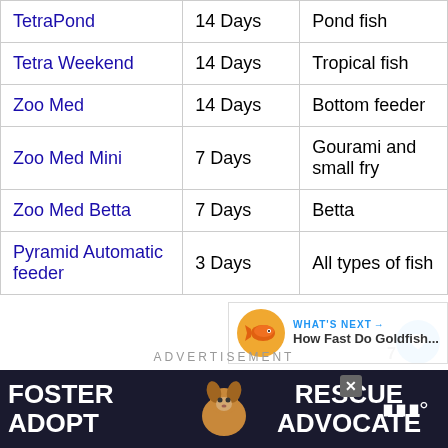| TetraPond | 14 Days | Pond fish |
| Tetra Weekend | 14 Days | Tropical fish |
| Zoo Med | 14 Days | Bottom feeder |
| Zoo Med Mini | 7 Days | Gourami and small fry |
| Zoo Med Betta | 7 Days | Betta |
| Pyramid Automatic feeder | 3 Days | All types of fish |
ADVERTISEMENT
[Figure (other): Advertisement banner: dark background with dog photo, text FOSTER ADOPT and RESCUE ADVOCATE, close button and MNN logo]